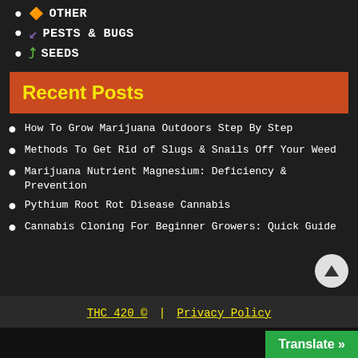OTHER
PESTS & BUGS
SEEDS
Recent Posts
How To Grow Marijuana Outdoors Step By Step
Methods To Get Rid of Slugs & Snails Off Your Weed
Marijuana Nutrient Magnesium: Deficiency & Prevention
Pythium Root Rot Disease Cannabis
Cannabis Cloning For Beginner Growers: Quick Guide
THC 420 © | Privacy Policy